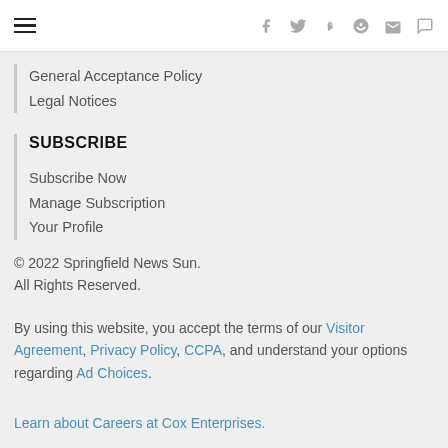☰  f  🐦  p  reddit  ✉  💬
General Acceptance Policy
Legal Notices
SUBSCRIBE
Subscribe Now
Manage Subscription
Your Profile
© 2022 Springfield News Sun. All Rights Reserved.
By using this website, you accept the terms of our Visitor Agreement, Privacy Policy, CCPA, and understand your options regarding Ad Choices.
Learn about Careers at Cox Enterprises.